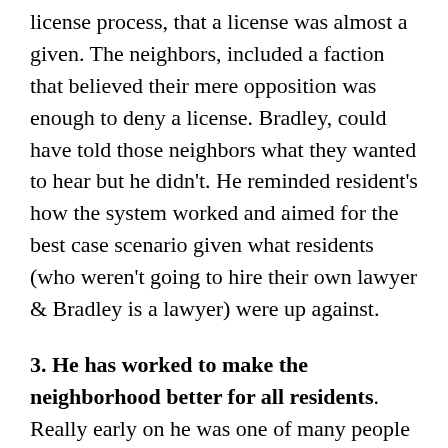license process, that a license was almost a given. The neighbors, included a faction that believed their mere opposition was enough to deny a license. Bradley, could have told those neighbors what they wanted to hear but he didn't. He reminded resident's how the system worked and aimed for the best case scenario given what residents (who weren't going to hire their own lawyer & Bradley is a lawyer) were up against.
3. He has worked to make the neighborhood better for all residents. Really early on he was one of many people who helped make the reconstruction of the Florida Avenue Park reality. Before it was a park for homeless and drug dealers, not for children, regardless of the playground equipment. Now old-timers hold court in one section, basketball players are on the courts, parents and their children get the playground area, and the